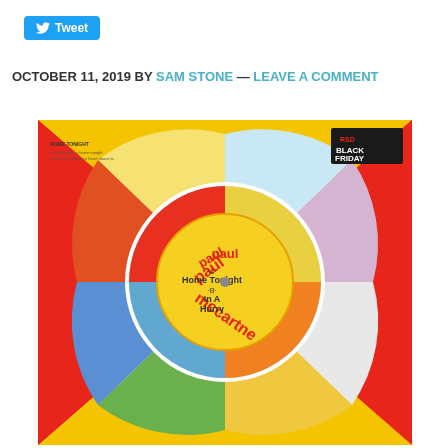[Figure (other): Twitter Tweet button in blue]
OCTOBER 11, 2019 BY SAM STONE — LEAVE A COMMENT
[Figure (photo): Paul McCartney album cover for 'Home Tonight / In A Hurry' - colorful circular disc artwork on red/yellow background with various illustrated panels. RSD Black Friday label visible in top right corner.]